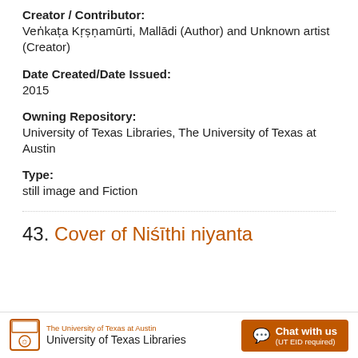Creator / Contributor:
Veṅkaṭa Kṛṣṇamūrti, Mallādi (Author) and Unknown artist (Creator)
Date Created/Date Issued:
2015
Owning Repository:
University of Texas Libraries, The University of Texas at Austin
Type:
still image and Fiction
43. Cover of Niśīthi niyanta
The University of Texas at Austin University of Texas Libraries  Chat with us (UT EID required)